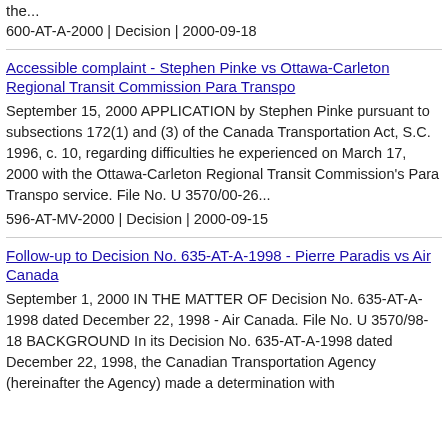the...
600-AT-A-2000 | Decision | 2000-09-18
Accessible complaint - Stephen Pinke vs Ottawa-Carleton Regional Transit Commission Para Transpo
September 15, 2000 APPLICATION by Stephen Pinke pursuant to subsections 172(1) and (3) of the Canada Transportation Act, S.C. 1996, c. 10, regarding difficulties he experienced on March 17, 2000 with the Ottawa-Carleton Regional Transit Commission's Para Transpo service. File No. U 3570/00-26...
596-AT-MV-2000 | Decision | 2000-09-15
Follow-up to Decision No. 635-AT-A-1998 - Pierre Paradis vs Air Canada
September 1, 2000 IN THE MATTER OF Decision No. 635-AT-A-1998 dated December 22, 1998 - Air Canada. File No. U 3570/98-18 BACKGROUND In its Decision No. 635-AT-A-1998 dated December 22, 1998, the Canadian Transportation Agency (hereinafter the Agency) made a determination with